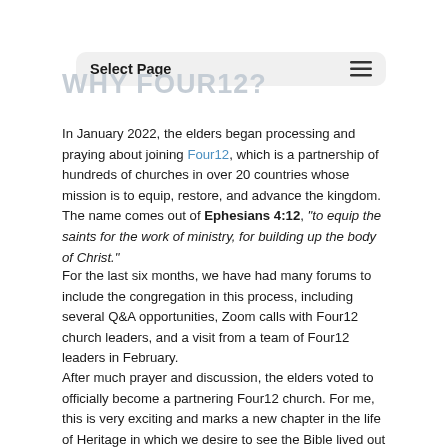Select Page
WHY FOUR12?
In January 2022, the elders began processing and praying about joining Four12, which is a partnership of hundreds of churches in over 20 countries whose mission is to equip, restore, and advance the kingdom. The name comes out of Ephesians 4:12, "to equip the saints for the work of ministry, for building up the body of Christ."
For the last six months, we have had many forums to include the congregation in this process, including several Q&A opportunities, Zoom calls with Four12 church leaders, and a visit from a team of Four12 leaders in February.
After much prayer and discussion, the elders voted to officially become a partnering Four12 church. For me, this is very exciting and marks a new chapter in the life of Heritage in which we desire to see the Bible lived out among us in a passionate and authentic way.
WHY ARE WE PARTNERING WITH